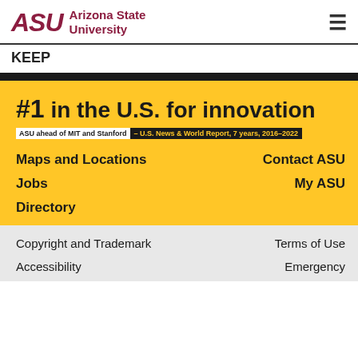[Figure (logo): Arizona State University logo with ASU letters in maroon italic and sunburst, beside text 'Arizona State University' in maroon bold]
KEEP
[Figure (infographic): #1 in the U.S. for innovation — ASU ahead of MIT and Stanford — U.S. News & World Report, 7 years, 2016–2022, on yellow background]
Maps and Locations
Contact ASU
Jobs
My ASU
Directory
Copyright and Trademark
Terms of Use
Accessibility
Emergency